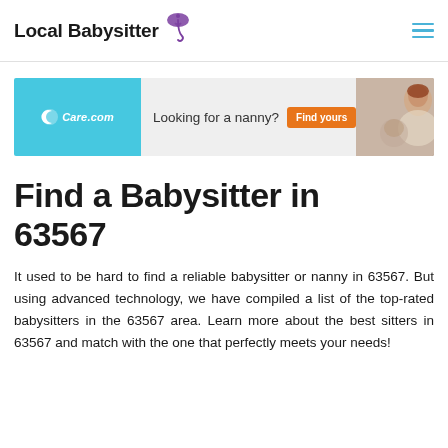Local Babysitter
[Figure (screenshot): Care.com advertisement banner: teal left section with Care.com logo, middle section with text 'Looking for a nanny?' and orange 'Find yours' button, right section with photo of nanny and child]
Find a Babysitter in 63567
It used to be hard to find a reliable babysitter or nanny in 63567. But using advanced technology, we have compiled a list of the top-rated babysitters in the 63567 area. Learn more about the best sitters in 63567 and match with the one that perfectly meets your needs!